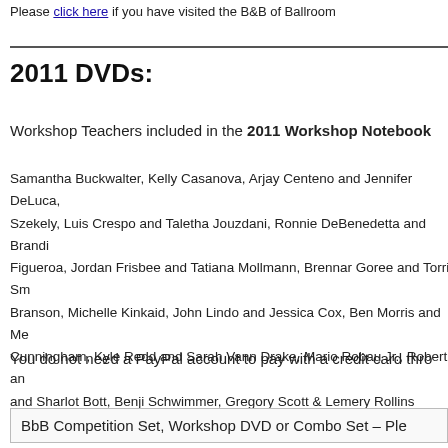Please click here if you have visited the B&B of Ballroom
2011 DVDs:
Workshop Teachers included in the 2011 Workshop Notebook
Samantha Buckwalter, Kelly Casanova, Arjay Centeno and Jennifer DeLuca, Szekely, Luis Crespo and Taletha Jouzdani, Ronnie DeBenedetta and Brandi Figueroa, Jordan Frisbee and Tatiana Mollmann, Brennar Goree and Torri Sr Branson, Michelle Kinkaid, John Lindo and Jessica Cox, Ben Morris and Me Cunningham, Kyle Redd and Sarah Vann Drake, Mario Robau Jr., Robert an and Sharlot Bott, Benji Schwimmer, Gregory Scott & Lemery Rollins
You do not need a PayPal account to pay with a credit card thro
BbB Competition Set, Workshop DVD or Combo Set – Ple